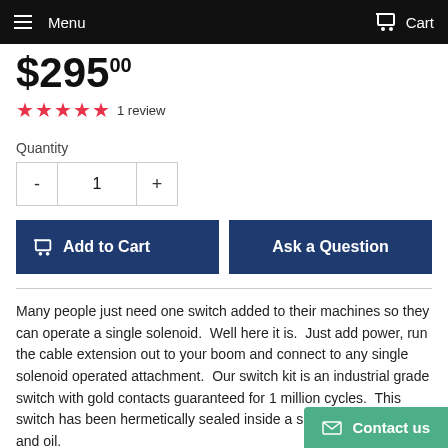Menu  Cart
$295.00
★★★★★ 1 review
Quantity
- 1 +
Add to Cart  Ask a Question
Many people just need one switch added to their machines so they can operate a single solenoid.  Well here it is.  Just add power, run the cable extension out to your boom and connect to any single solenoid operated attachment.  Our switch kit is an industrial grade switch with gold contacts guaranteed for 1 million cycles.  This switch has been hermetically sealed inside a silicone boot to pro… and oil.